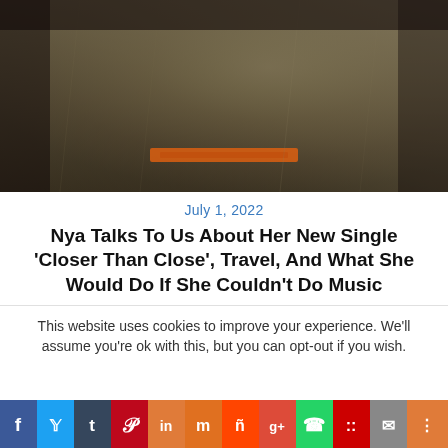[Figure (photo): Person wearing a denim jacket and jeans with an orange belt, photographed from the torso down against a dark background.]
July 1, 2022
Nya Talks To Us About Her New Single ‘Closer Than Close’, Travel, And What She Would Do If She Couldn’t Do Music
This website uses cookies to improve your experience. We'll assume you're ok with this, but you can opt-out if you wish.
[Figure (infographic): Social media share bar with icons for Facebook, Twitter, Tumblr, Pinterest, LinkedIn, Mix, Reddit, Google+, WhatsApp, Myspace, Email, and Share.]